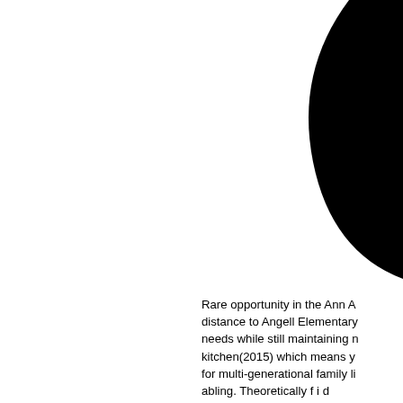[Figure (illustration): Partial view of a large black curved shape in the upper-right corner of the page, likely part of a decorative graphic or logo element]
Rare opportunity in the Ann A distance to Angell Elementary needs while still maintaining n kitchen(2015) which means y for multi-generational family li abling. Theoretically f i d